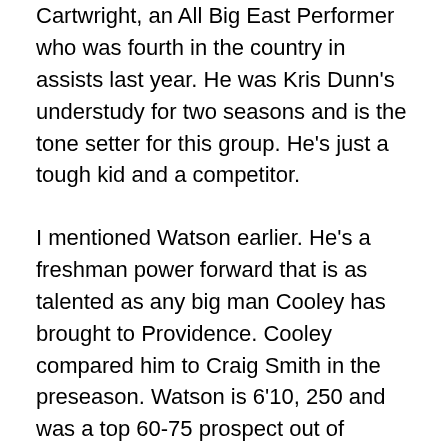Cartwright, an All Big East Performer who was fourth in the country in assists last year. He was Kris Dunn's understudy for two seasons and is the tone setter for this group. He's just a tough kid and a competitor.
I mentioned Watson earlier. He's a freshman power forward that is as talented as any big man Cooley has brought to Providence. Cooley compared him to Craig Smith in the preseason. Watson is 6'10, 250 and was a top 60-75 prospect out of Virginia. Freshman point guard Makai Ashton-Langford is the highest rated recruit Cooley has brought in since Dunn. The Worcester native was a top 40 player in the class of 2017 and committed to PC in the spring after de-committing from Connecticut. In a sign of the depth Cooley has built, both Watson and Ashton-Langford come off of the bench. Both are still trying to find their